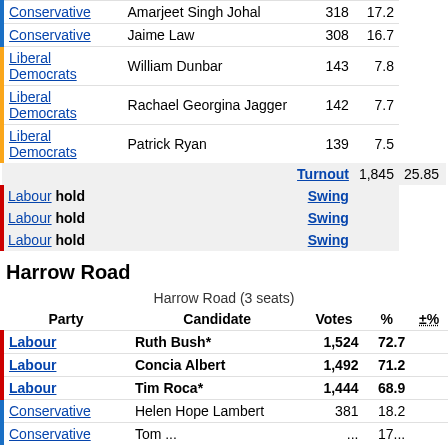| Party | Candidate | Votes | % |
| --- | --- | --- | --- |
| Conservative | Amarjeet Singh Johal | 318 | 17.2 |
| Conservative | Jaime Law | 308 | 16.7 |
| Liberal Democrats | William Dunbar | 143 | 7.8 |
| Liberal Democrats | Rachael Georgina Jagger | 142 | 7.7 |
| Liberal Democrats | Patrick Ryan | 139 | 7.5 |
| Turnout |  | 1,845 | 25.85 |
| Labour hold |  | Swing |  |
| Labour hold |  | Swing |  |
| Labour hold |  | Swing |  |
Harrow Road
Harrow Road (3 seats)
| Party | Candidate | Votes | % | ±% |
| --- | --- | --- | --- | --- |
| Labour | Ruth Bush* | 1,524 | 72.7 |  |
| Labour | Concia Albert | 1,492 | 71.2 |  |
| Labour | Tim Roca* | 1,444 | 68.9 |  |
| Conservative | Helen Hope Lambert | 381 | 18.2 |  |
| Conservative | Tom ... | ... | 17... |  |